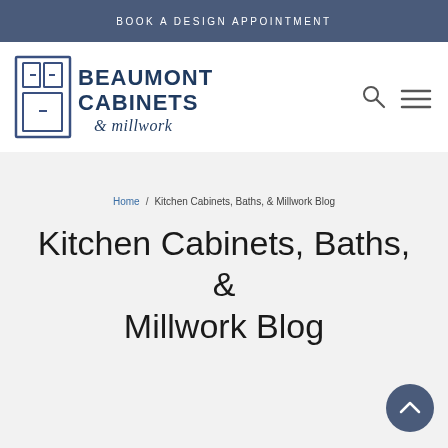BOOK A DESIGN APPOINTMENT
[Figure (logo): Beaumont Cabinets & Millwork logo with stylized cabinet icon on the left and text 'BEAUMONT CABINETS & millwork' in navy blue]
Home / Kitchen Cabinets, Baths, & Millwork Blog
Kitchen Cabinets, Baths, & Millwork Blog